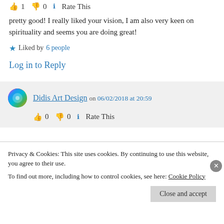1  0  Rate This
pretty good! I really liked your vision, I am also very keen on spirituality and seems you are doing great!
Liked by 6 people
Log in to Reply
Didis Art Design on 06/02/2018 at 20:59
0  0  Rate This
Privacy & Cookies: This site uses cookies. By continuing to use this website, you agree to their use.
To find out more, including how to control cookies, see here: Cookie Policy
Close and accept